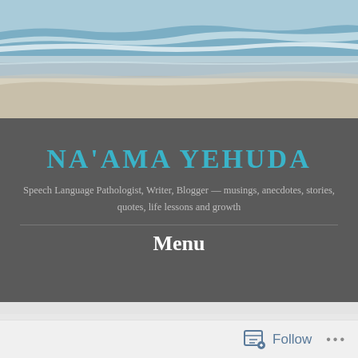[Figure (photo): Beach/ocean photo header showing waves and sandy shore]
NA'AMA YEHUDA
Speech Language Pathologist, Writer, Blogger — musings, anecdotes, stories, quotes, life lessons and growth
Menu
Absurd
Follow ...